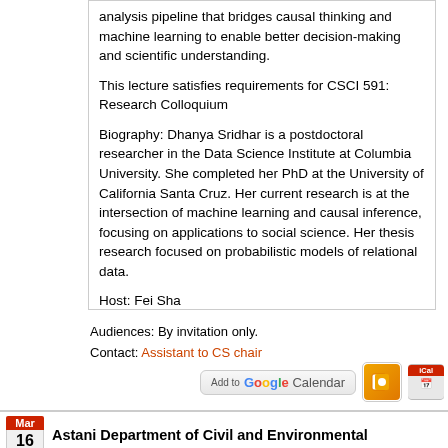analysis pipeline that bridges causal thinking and machine learning to enable better decision-making and scientific understanding.
This lecture satisfies requirements for CSCI 591: Research Colloquium
Biography: Dhanya Sridhar is a postdoctoral researcher in the Data Science Institute at Columbia University. She completed her PhD at the University of California Santa Cruz. Her current research is at the intersection of machine learning and causal inference, focusing on applications to social science. Her thesis research focused on probabilistic models of relational data.
Host: Fei Sha
Audiences: By invitation only.
Contact: Assistant to CS chair
[Figure (other): Add to Google Calendar, Outlook, and iCal buttons]
Mar 16 Astani Department of Civil and Environmental